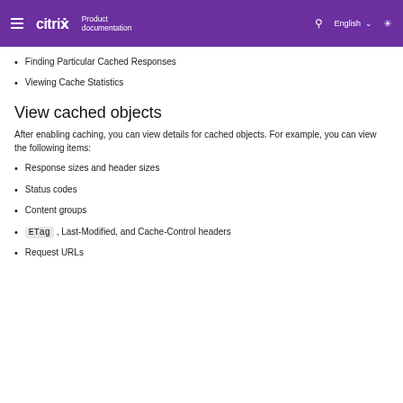citrix Product documentation | English
Finding Particular Cached Responses
Viewing Cache Statistics
View cached objects
After enabling caching, you can view details for cached objects. For example, you can view the following items:
Response sizes and header sizes
Status codes
Content groups
ETag , Last-Modified, and Cache-Control headers
Request URLs